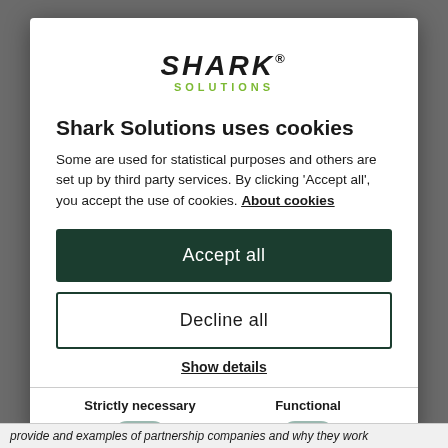[Figure (logo): Shark Solutions logo with SHARK in bold italic dark text and SOLUTIONS in green letters below]
Shark Solutions uses cookies
Some are used for statistical purposes and others are set up by third party services. By clicking ‘Accept all’, you accept the use of cookies. About cookies
Accept all
Decline all
Show details
Strictly necessary
Functional
provide and examples of partnership companies and why they work